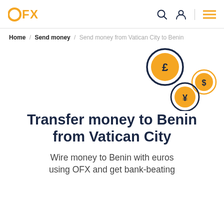OFX
Home / Send money / Send money from Vatican City to Benin
[Figure (illustration): Three currency coin icons with currency symbols: a large coin with pound (£) symbol, a smaller coin with dollar ($) symbol, and a medium coin with yen (¥) symbol, arranged in a scattered pattern on the right side of the page.]
Transfer money to Benin from Vatican City
Wire money to Benin with euros using OFX and get bank-beating